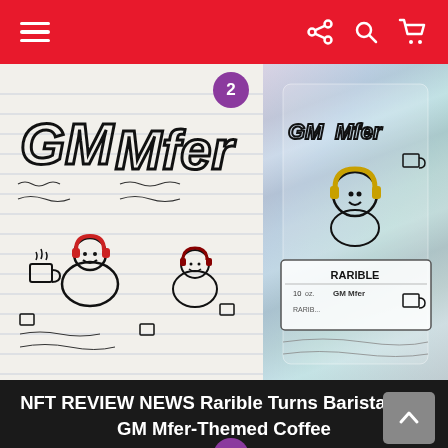Navigation bar with hamburger menu, share, search, and cart icons
[Figure (illustration): NFT artwork showing GM Mfer characters (doodle-style figures wearing headphones with coffee cups) on a sketched lined-paper background on the left, and a holographic coffee packaging/bottle on the right with 'Rarible' branding and 'GM Mfer' text. A purple badge with '2' overlaid near top center.]
NFT REVIEW NEWS Rarible Turns Barista with GM Mfer-Themed Coffee
[Figure (screenshot): Dark gray content area below the title, partially visible. A purple badge with '3' overlaid near top center. A gray scroll-to-top arrow button in the bottom right corner.]